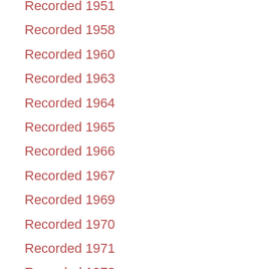Recorded 1951
Recorded 1958
Recorded 1960
Recorded 1963
Recorded 1964
Recorded 1965
Recorded 1966
Recorded 1967
Recorded 1969
Recorded 1970
Recorded 1971
Recorded 1972
Recorded 1974
Recorded 1975
Recorded 1976